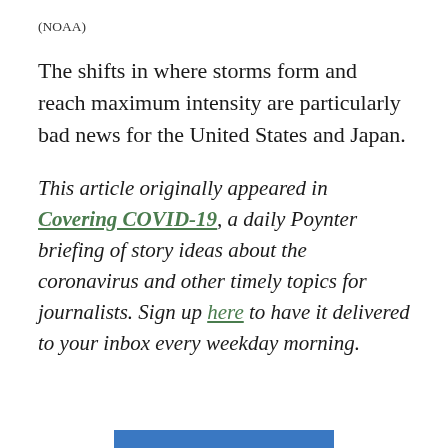(NOAA)
The shifts in where storms form and reach maximum intensity are particularly bad news for the United States and Japan.
This article originally appeared in Covering COVID-19, a daily Poynter briefing of story ideas about the coronavirus and other timely topics for journalists. Sign up here to have it delivered to your inbox every weekday morning.